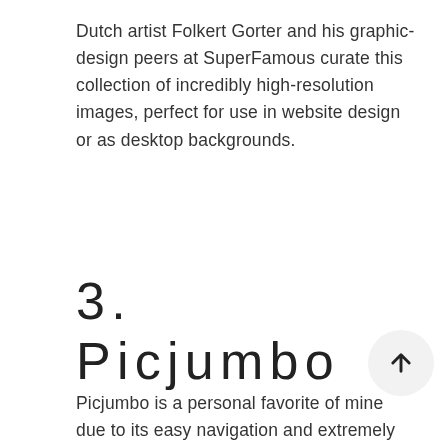Dutch artist Folkert Gorter and his graphic-design peers at SuperFamous curate this collection of incredibly high-resolution images, perfect for use in website design or as desktop backgrounds.
3. Picjumbo
Picjumbo is a personal favorite of mine due to its easy navigation and extremely high-resolution photos